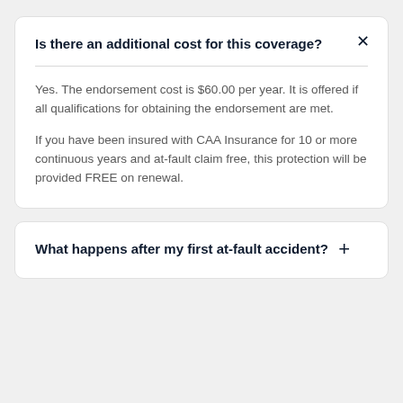Is there an additional cost for this coverage?
Yes. The endorsement cost is $60.00 per year. It is offered if all qualifications for obtaining the endorsement are met.
If you have been insured with CAA Insurance for 10 or more continuous years and at-fault claim free, this protection will be provided FREE on renewal.
What happens after my first at-fault accident?